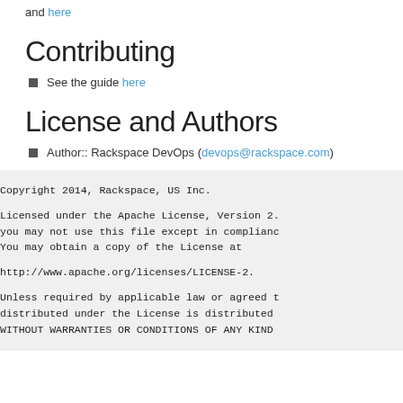and here
Contributing
See the guide here
License and Authors
Author:: Rackspace DevOps (devops@rackspace.com)
Copyright 2014, Rackspace, US Inc.

Licensed under the Apache License, Version 2.
you may not use this file except in compliance
You may obtain a copy of the License at

    http://www.apache.org/licenses/LICENSE-2.

Unless required by applicable law or agreed t
distributed under the License is distributed
WITHOUT WARRANTIES OR CONDITIONS OF ANY KIND